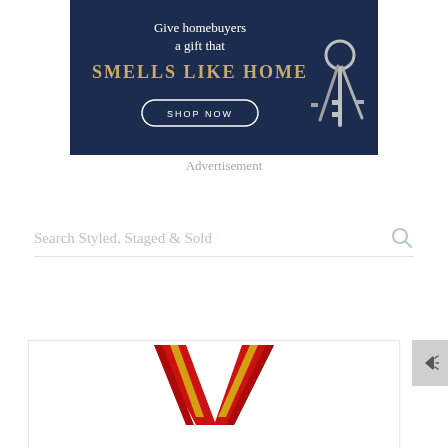[Figure (illustration): Advertisement banner with dark navy background. Text reads 'Give homebuyers a gift that SMELLS LIKE HOME' with a 'SHOP NOW' button and keys graphic on the right.]
Advertisement
Search Styled, Staged & Sold
[Figure (logo): Large red and gold V-shaped logo/letter mark with diagonal stripe detailing on a white card background.]